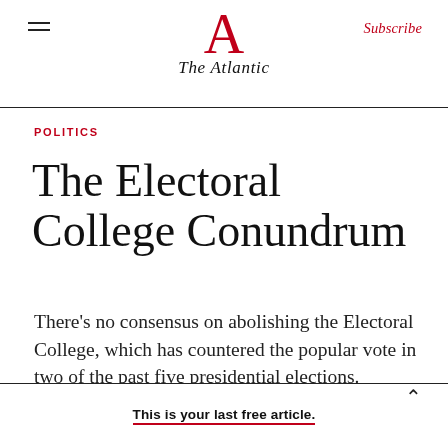The Atlantic — Subscribe
POLITICS
The Electoral College Conundrum
There's no consensus on abolishing the Electoral College, which has countered the popular vote in two of the past five presidential elections.
This is your last free article.